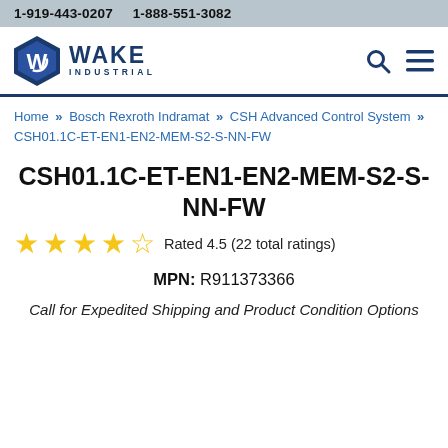1-919-443-0207   1-888-551-3082
[Figure (logo): Wake Industrial logo — blue hexagonal shield with stylized W/G letter mark, company name WAKE INDUSTRIAL]
Home » Bosch Rexroth Indramat » CSH Advanced Control System » CSH01.1C-ET-EN1-EN2-MEM-S2-S-NN-FW
CSH01.1C-ET-EN1-EN2-MEM-S2-S-NN-FW
Rated 4.5 (22 total ratings)
MPN: R911373366
Call for Expedited Shipping and Product Condition Options